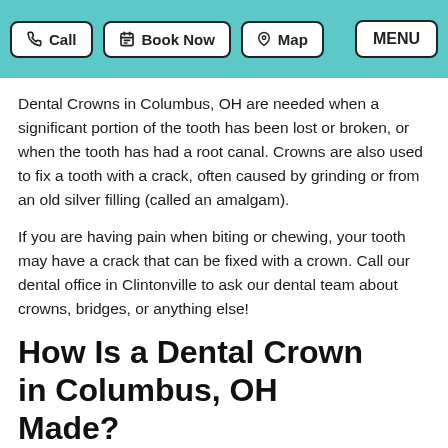Call | Book Now | Map | MENU
Dental Crowns in Columbus, OH are needed when a significant portion of the tooth has been lost or broken, or when the tooth has had a root canal. Crowns are also used to fix a tooth with a crack, often caused by grinding or from an old silver filling (called an amalgam).
If you are having pain when biting or chewing, your tooth may have a crack that can be fixed with a crown. Call our dental office in Clintonville to ask our dental team about crowns, bridges, or anything else!
How Is a Dental Crown in Columbus, OH Made?
When your tooth needs a crown, your first dental